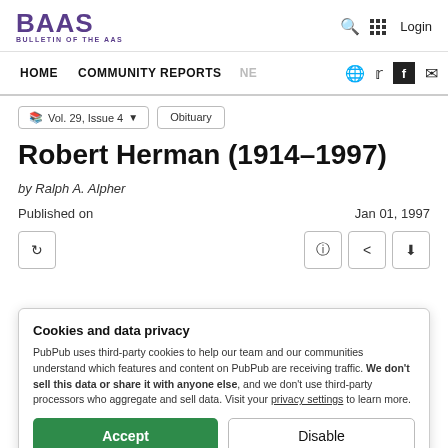BAAS — BULLETIN OF THE AAS — HOME COMMUNITY REPORTS NE Login
Robert Herman (1914–1997)
by Ralph A. Alpher
Published on    Jan 01, 1997
Cookies and data privacy
PubPub uses third-party cookies to help our team and our communities understand which features and content on PubPub are receiving traffic. We don't sell this data or share it with anyone else, and we don't use third-party processors who aggregate and sell data. Visit your privacy settings to learn more.
Center for Statistical Mechanics at the